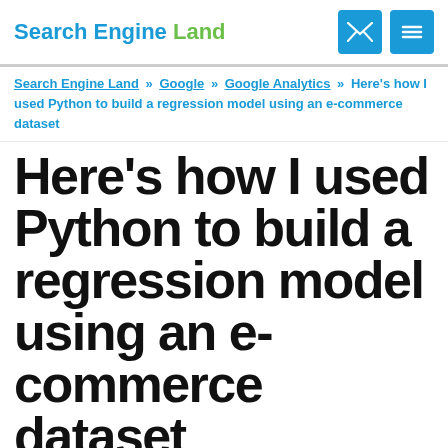Search Engine Land
Search Engine Land » Google » Google Analytics » Here's how I used Python to build a regression model using an e-commerce dataset
Here's how I used Python to build a regression model using an e-commerce dataset
If you want to advance your data science skills, Python can be a valuable tool for